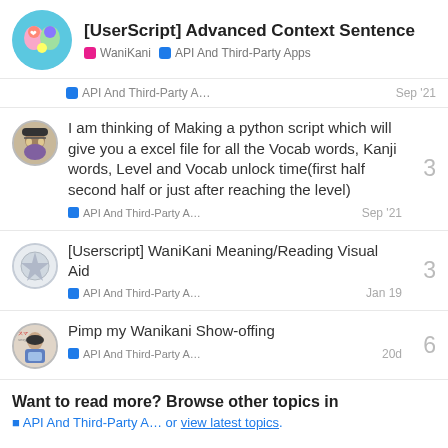[UserScript] Advanced Context Sentence — WaniKani | API And Third-Party Apps
API And Third-Party A…  Sep '21
I am thinking of Making a python script which will give you a excel file for all the Vocab words, Kanji words, Level and Vocab unlock time(first half second half or just after reaching the level)
API And Third-Party A…  Sep '21  3
[Userscript] WaniKani Meaning/Reading Visual Aid
API And Third-Party A…  Jan 19  3
Pimp my Wanikani Show-offing
API And Third-Party A…  20d  6
Want to read more? Browse other topics in